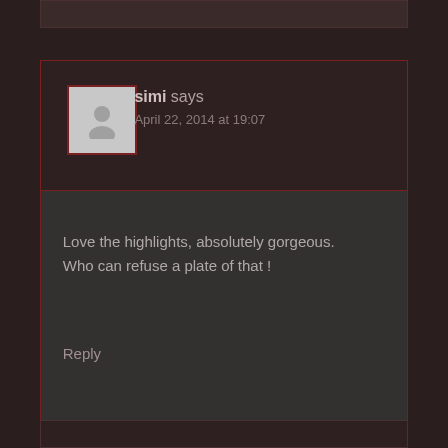[Figure (illustration): Gray default avatar/placeholder image of a person silhouette with a red border]
simi says
April 22, 2014 at 19:07
Love the highlights, absolutely gorgeous.
Who can refuse a plate of that !
Reply